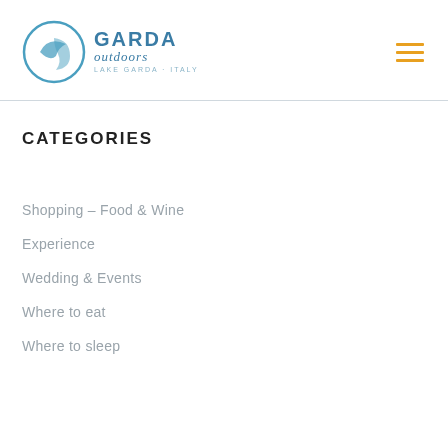[Figure (logo): Garda Outdoors logo with circular icon and text 'GARDA outdoors LAKE GARDA - ITALY']
Shopping – Food & Wine
Experience
Wedding & Events
Where to eat
Where to sleep